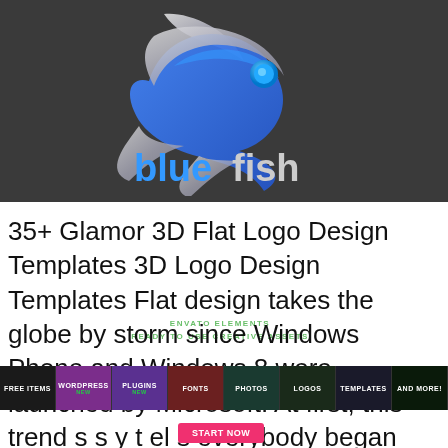[Figure (logo): Bluefish logo on dark gray background — stylized fish shape in silver/blue with a blue circle eye, and the word 'bluefish' in blue below (blue colored 'blue', dark/white 'fish')]
35+ Glamor 3D Flat Logo Design Templates 3D Logo Design Templates Flat design takes the globe by storm since Windows Phone and Windows 8 were launched by Microsoft. At first, this trend s s y t el s everybody began t at design in a couple of weeks. Due to Apple's